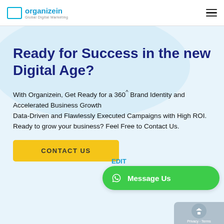Organizein Global Digital Marketing
Ready for Success in the new Digital Age?
With Organizein, Get Ready for a 360^ Brand Identity and Accelerated Business Growth
Data-Driven and Flawlessly Executed Campaigns with High ROI.
Ready to grow your business? Feel Free to Contact Us.
CONTACT US
Message Us